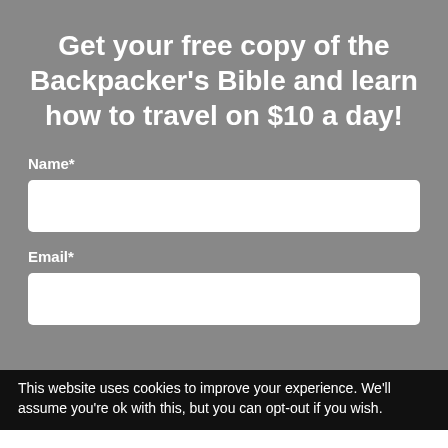Get your free copy of the Backpacker's Bible and learn how to travel on $10 a day!
Name*
[Figure (other): Empty white input field for Name]
Email*
[Figure (other): Empty white input field for Email]
This website uses cookies to improve your experience. We'll assume you're ok with this, but you can opt-out if you wish.